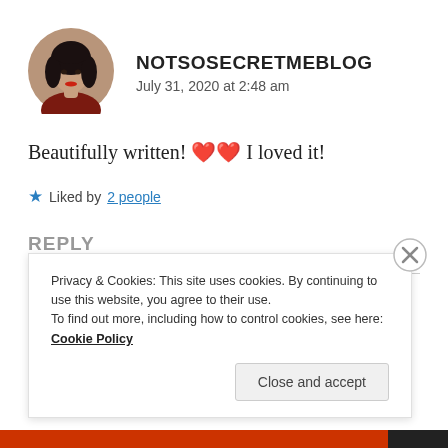[Figure (photo): Circular avatar photo of a young woman with dark hair, wearing a dark red top, against a light background.]
NOTSOSECRETMEBLOG
July 31, 2020 at 2:48 am
Beautifully written! ❤❤ I loved it!
★ Liked by 2 people
REPLY
Privacy & Cookies: This site uses cookies. By continuing to use this website, you agree to their use. To find out more, including how to control cookies, see here: Cookie Policy
Close and accept